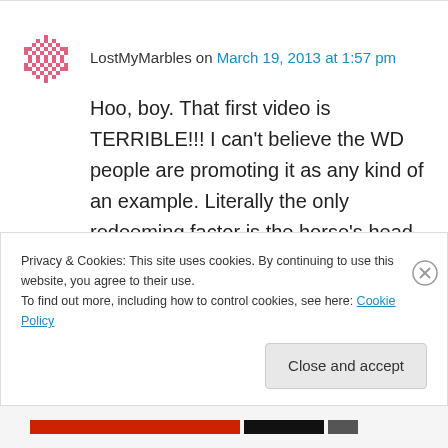LostMyMarbles on March 19, 2013 at 1:57 pm
Hoo, boy. That first video is TERRIBLE!!! I can't believe the WD people are promoting it as any kind of an example. Literally the only redeeming factor is the horse's head is not at his knees. Otherwise, it's like Western Displeasure, or Horsemanship, or Western Riding, or whatever
Privacy & Cookies: This site uses cookies. By continuing to use this website, you agree to their use. To find out more, including how to control cookies, see here: Cookie Policy
Close and accept